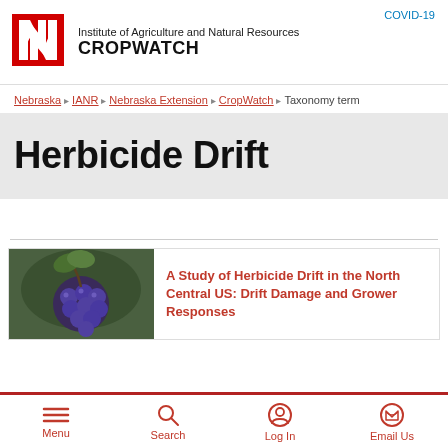COVID-19 | Institute of Agriculture and Natural Resources CROPWATCH
[Figure (logo): University of Nebraska red N logo]
Nebraska > IANR > Nebraska Extension > CropWatch > Taxonomy term
Herbicide Drift
A Study of Herbicide Drift in the North Central US: Drift Damage and Grower Responses
Menu | Search | Log In | Email Us